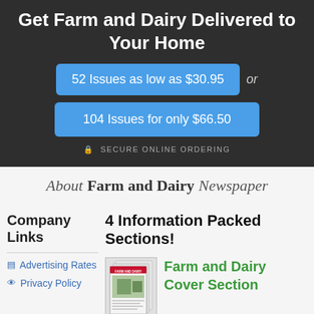Get Farm and Dairy Delivered to Your Home
52 Issues as low as $30.95
or
104 Issues for only $66.50
🔒 SECURE ONLINE ORDERING
About Farm and Dairy Newspaper
Company Links
4 Information Packed Sections!
Advertising Rates
Privacy Policy
[Figure (photo): Stack of Farm and Dairy newspaper issues]
Farm and Dairy Cover Section